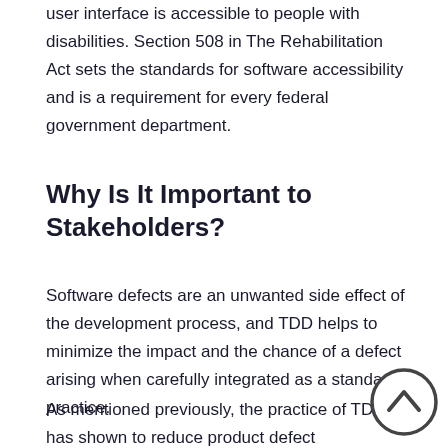user interface is accessible to people with disabilities. Section 508 in The Rehabilitation Act sets the standards for software accessibility and is a requirement for every federal government department.
Why Is It Important to Stakeholders?
Software defects are an unwanted side effect of the development process, and TDD helps to minimize the impact and the chance of a defect arising when carefully integrated as a standard practice.
As mentioned previously, the practice of TDD has shown to reduce product defect deficiencies between